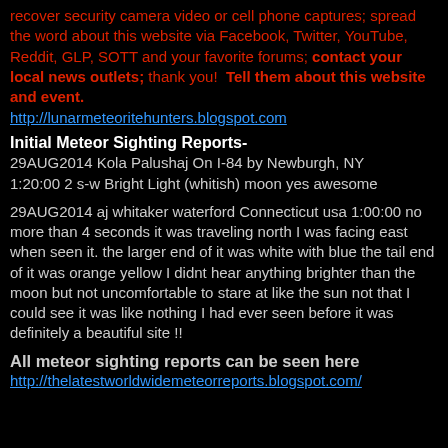recover security camera video or cell phone captures; spread the word about this website via Facebook, Twitter, YouTube, Reddit, GLP, SOTT and your favorite forums; contact your local news outlets; thank you!  Tell them about this website and event.
http://lunarmeteoritehunters.blogspot.com
Initial Meteor Sighting Reports-
29AUG2014 Kola Palushaj On I-84 by Newburgh, NY 1:20:00 2 s-w Bright Light (whitish) moon yes awesome
29AUG2014 aj whitaker waterford Connecticut usa 1:00:00 no more than 4 seconds it was traveling north I was facing east when seen it. the larger end of it was white with blue the tail end of it was orange yellow I didnt hear anything brighter than the moon but not uncomfortable to stare at like the sun not that I could see it was like nothing I had ever seen before it was definitely a beautiful site !!
All meteor sighting reports can be seen here
http://thelatestworldwidemeteorreports.blogspot.com/